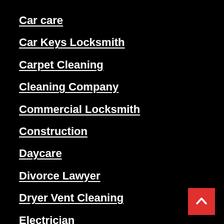Car care
Car Keys Locksmith
Carpet Cleaning
Cleaning Company
Commercial Locksmith
Construction
Daycare
Divorce Lawyer
Dryer Vent Cleaning
Electrician